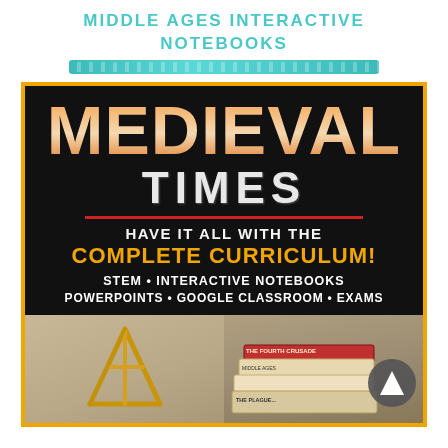MIDDLE AGES INTERACTIVE NOTEBOOKS
[Figure (illustration): Decorative teal horizontal bar/divider]
[Figure (infographic): Medieval Times educational curriculum advertisement on black background. Large gradient orange text reads MEDIEVAL, white text reads TIMES with red underline, orange text reads HAVE IT ALL WITH THE COMPLETE CURRICULUM!, white text lists STEM•INTERACTIVE NOTEBOOKS, POWERPOINTS • GOOGLE CLASSROOM • EXAMS. Bottom half shows two photos: left photo of a STEM popsicle stick pyramid structure, right photo of stacked history notebooks/papers with a circular arrow badge.]